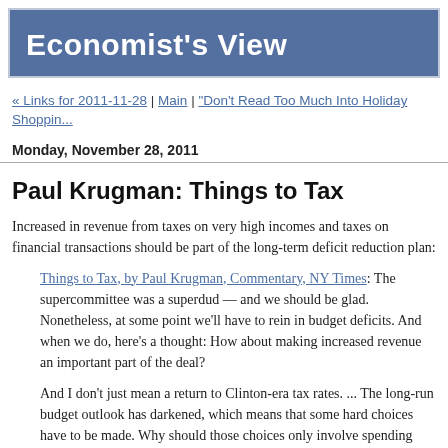Economist's View
« Links for 2011-11-28 | Main | "Don't Read Too Much Into Holiday Shopping..."
Monday, November 28, 2011
Paul Krugman: Things to Tax
Increased in revenue from taxes on very high incomes and taxes on financial transactions should be part of the long-term deficit reduction plan:
Things to Tax, by Paul Krugman, Commentary, NY Times: The supercommittee was a superdud — and we should be glad. Nonetheless, at some point we'll have to rein in budget deficits. And when we do, here's a thought: How about making increased revenue an important part of the deal?
And I don't just mean a return to Clinton-era tax rates. ... The long-run budget outlook has darkened, which means that some hard choices have to be made. Why should those choices only involve spending cuts? Why not also push some taxes above their levels in the 1990s?